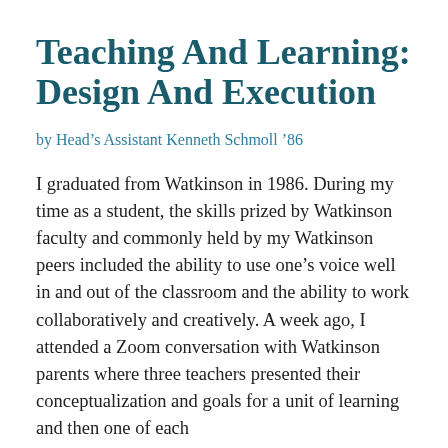Teaching And Learning: Design And Execution
by Head's Assistant Kenneth Schmoll '86
I graduated from Watkinson in 1986. During my time as a student, the skills prized by Watkinson faculty and commonly held by my Watkinson peers included the ability to use one's voice well in and out of the classroom and the ability to work collaboratively and creatively. A week ago, I attended a Zoom conversation with Watkinson parents where three teachers presented their conceptualization and goals for a unit of learning and then one of each